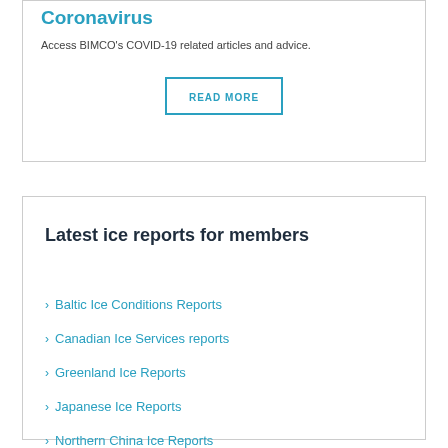Coronavirus
Access BIMCO's COVID-19 related articles and advice.
READ MORE
Latest ice reports for members
Baltic Ice Conditions Reports
Canadian Ice Services reports
Greenland Ice Reports
Japanese Ice Reports
Northern China Ice Reports